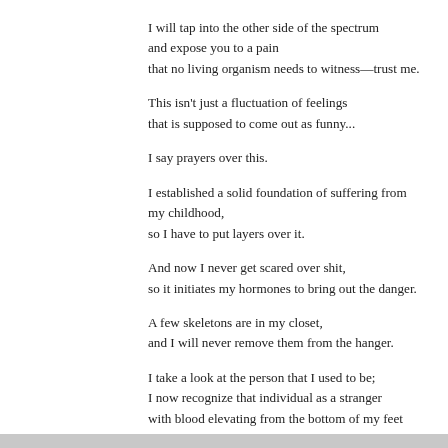I will tap into the other side of the spectrum
and expose you to a pain
that no living organism needs to witness—trust me.
This isn't just a fluctuation of feelings
that is supposed to come out as funny...
I say prayers over this.
I established a solid foundation of suffering from
my childhood,
so I have to put layers over it.
And now I never get scared over shit,
so it initiates my hormones to bring out the danger.
A few skeletons are in my closet,
and I will never remove them from the hanger.
I take a look at the person that I used to be;
I now recognize that individual as a stranger
with blood elevating from the bottom of my feet
at 212 degrees
as I struggle to keep down the anger.